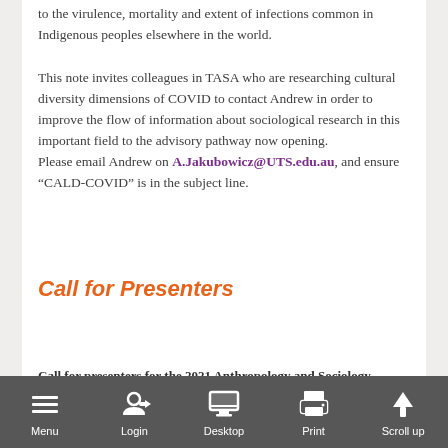to the virulence, mortality and extent of infections common in Indigenous peoples elsewhere in the world.
This note invites colleagues in TASA who are researching cultural diversity dimensions of COVID to contact Andrew in order to improve the flow of information about sociological research in this important field to the advisory pathway now opening.
Please email Andrew on A.Jakubowicz@UTS.edu.au, and ensure “CALD-COVID” is in the subject line.
Call for Presenters
Call for presenters for the 2021 Anthropology and Sociology Seminar Series
If you are interested in presenting at this series next